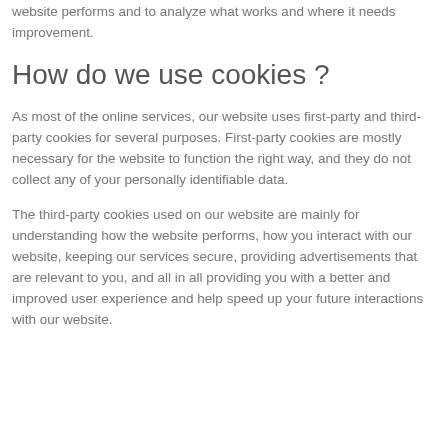website performs and to analyze what works and where it needs improvement.
How do we use cookies ?
As most of the online services, our website uses first-party and third-party cookies for several purposes. First-party cookies are mostly necessary for the website to function the right way, and they do not collect any of your personally identifiable data.
The third-party cookies used on our website are mainly for understanding how the website performs, how you interact with our website, keeping our services secure, providing advertisements that are relevant to you, and all in all providing you with a better and improved user experience and help speed up your future interactions with our website.